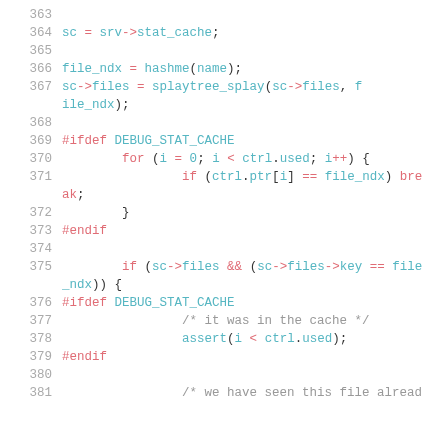[Figure (screenshot): Source code listing showing C code lines 363-381 with line numbers, syntax highlighting in teal/cyan for identifiers and red/pink for keywords and preprocessor directives.]